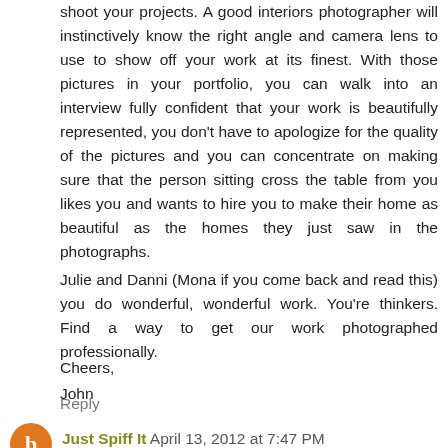shoot your projects. A good interiors photographer will instinctively know the right angle and camera lens to use to show off your work at its finest. With those pictures in your portfolio, you can walk into an interview fully confident that your work is beautifully represented, you don't have to apologize for the quality of the pictures and you can concentrate on making sure that the person sitting cross the table from you likes you and wants to hire you to make their home as beautiful as the homes they just saw in the photographs.
Julie and Danni (Mona if you come back and read this) you do wonderful, wonderful work. You're thinkers. Find a way to get our work photographed professionally.
Cheers,
John
Reply
Just Spiff It  April 13, 2012 at 7:47 PM
I love the photo that shows the 3 areas of the stone you